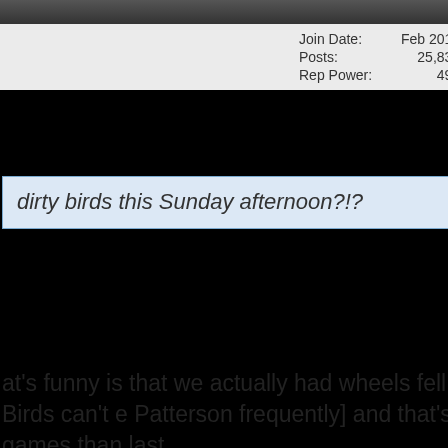| Field | Value |
| --- | --- |
| Join Date: | Feb 2012 |
| Posts: | 25,834 |
| Rep Power: | 497 |
dirty birds this Sunday afternoon?!?
at's funny is that we actually had wheels fell off completely. Birds can't e Patterson frequently] and that's ready won more games than last
e is going to catch Tom Terrific
Reply With Quote
#4248
| Field | Value |
| --- | --- |
| Join Date: | Feb 2012 |
| Posts: | 25,834 |
| Rep Power: | 497 |